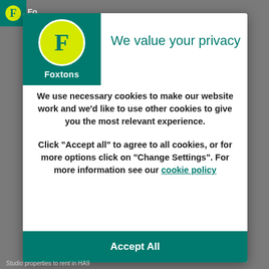[Figure (logo): Foxtons real estate logo — teal background with yellow circle containing white F letter and Foxtons text below]
We value your privacy
We use necessary cookies to make our website work and we'd like to use other cookies to give you the most relevant experience.
Click “Accept all” to agree to all cookies, or for more options click on “Change Settings”. For more information see our cookie policy
Accept All
Studio properties to rent in HA9